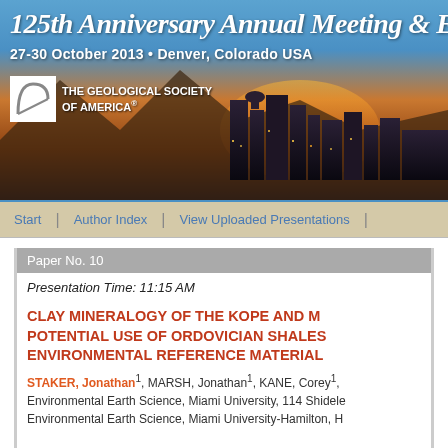[Figure (photo): 125th Anniversary Annual Meeting & Exposition banner with Denver, Colorado skyline at sunset and The Geological Society of America logo]
125th Anniversary Annual Meeting & Ex
27-30 October 2013 • Denver, Colorado USA
THE GEOLOGICAL SOCIETY OF AMERICA®
Start | Author Index | View Uploaded Presentations |
Paper No. 10
Presentation Time: 11:15 AM
CLAY MINERALOGY OF THE KOPE AND M... POTENTIAL USE OF ORDOVICIAN SHALES... ENVIRONMENTAL REFERENCE MATERIAL...
STAKER, Jonathan1, MARSH, Jonathan1, KANE, Corey1, Environmental Earth Science, Miami University, 114 Shidele... Environmental Earth Science, Miami University-Hamilton, H...